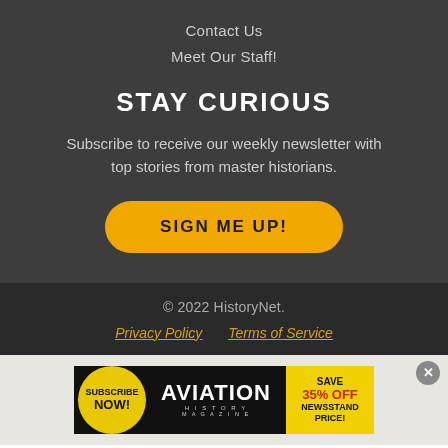Contact Us
Meet Our Staff!
STAY CURIOUS
Subscribe to receive our weekly newsletter with top stories from master historians.
SIGN ME UP!
© 2022 HistoryNet.
Privacy Policy
Terms of Service
[Figure (infographic): Aviation History Magazine advertisement banner: yellow circle with SUBSCRIBE NOW!, AVIATION HISTORY MAGAZINE logo in black, yellow right panel with SAVE 35% OFF NEWSSTAND PRICE!]